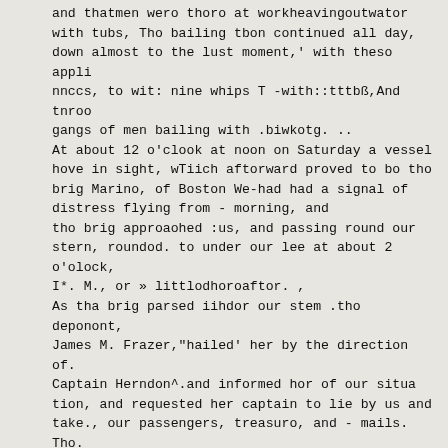and thatmen wero thoro at workheavingoutwator with tubs, Tho bailing tbon continued all day, down almost to the lust moment,' with theso appli nnccs, to wit: nine whips T -with::tttbß,And tnroo gangs of men bailing with .biwkotg. .. At about 12 o'clook at noon on Saturday a vessel hove in sight, wTiich aftorward proved to bo tho brig Marino, of Boston We-had had a signal of distress flying from - morning, and tho brig approaohed :us, and passing round our stern, roundod. to under our lee at about 2 o'olock, I*. M., or » littlodhoroaftor. , As tha brig parsed iihdor our stem .tho deponont, James M. Frazer,"hailed' her by the direction of. Captain Herndon^.and informed hor of our situa tion, and requested her captain to lie by us and take., our passengers, treasuro, and - mails. Tho. Captain 01 the Marino promised to do ail that ,ho oonld fbr ns. Wo had originally had six bbatsi They wore lifo-boats, five 01 them wooden and one metallic. 'One' of tho wooden ones htul dur|ng tho night ,beforo been washed out of tho davits.by a'sefir We had, therifore, but flya/WfL: And/as tlio galo had abated slnco' tcn o'clockou;Saturday.